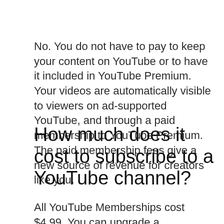No. You do not have to pay to keep your content on YouTube or to have it included in YouTube Premium. Your videos are automatically visible to viewers on ad-supported YouTube, and through a paid membership to YouTube Premium. The paid membership fees give a new source of revenue for creators like you.
How much does it cost to subscribe to a YouTube channel?
All YouTube Memberships cost $4.99. You can upgrade a membership to higher tiers, with